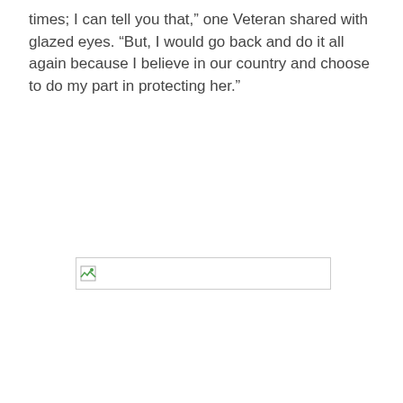times; I can tell you that,” one Veteran shared with glazed eyes. “But, I would go back and do it all again because I believe in our country and choose to do my part in protecting her.”
[Figure (other): Broken/placeholder image thumbnail, shown as a small icon with a border box]